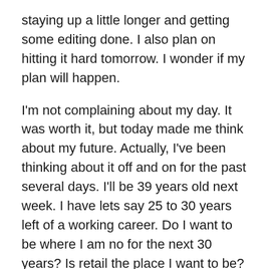staying up a little longer and getting some editing done. I also plan on hitting it hard tomorrow. I wonder if my plan will happen.
I'm not complaining about my day. It was worth it, but today made me think about my future. Actually, I've been thinking about it off and on for the past several days. I'll be 39 years old next week. I have lets say 25 to 30 years left of a working career. Do I want to be where I am no for the next 30 years? Is retail the place I want to be?
The answer is a resounding no. I don't like what I'm doing. There's no job security, no job satisfaction. I'm tearing my body down for an impersonal corporation that doesn't care about me. It's only concern is to make money for itself, and for its shareholders. Though I do believe in a free market society, I have to be frank and say that my needs